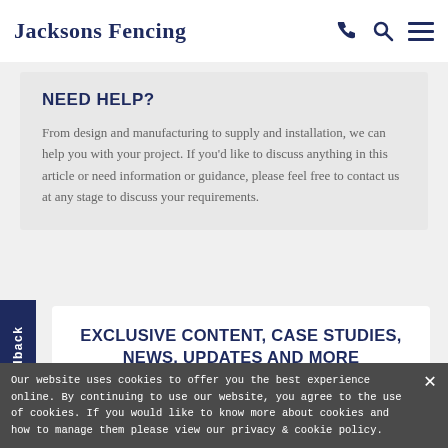Jacksons Fencing
NEED HELP?
From design and manufacturing to supply and installation, we can help you with your project. If you'd like to discuss anything in this article or need information or guidance, please feel free to contact us at any stage to discuss your requirements.
EXCLUSIVE CONTENT, CASE STUDIES, NEWS, UPDATES AND MORE
Join thousands of other subscribers and
Our website uses cookies to offer you the best experience online. By continuing to use our website, you agree to the use of cookies. If you would like to know more about cookies and how to manage them please view our privacy & cookie policy.